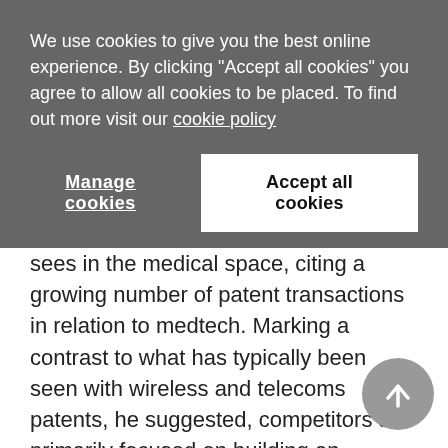We use cookies to give you the best online experience. By clicking "Accept all cookies" you agree to allow all cookies to be placed. To find out more visit our cookie policy
Manage cookies
Accept all cookies
sees in the medical space, citing a growing number of patent transactions in relation to medtech. Marking a contrast to what has typically been seen with wireless and telecoms patents, he suggested, competitors are primarily focused on building an exclusive position in the consumer market and getting medtech products onto shelves as quickly and cheaply as possible, with licensing revenues and defence much further down the list of